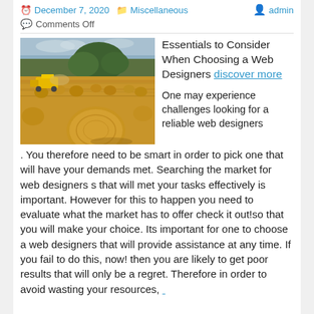December 7, 2020   Miscellaneous   Comments Off   admin
[Figure (photo): Farm field with hay bales and a yellow combine harvester near a large green tree under a partly cloudy sky]
Essentials to Consider When Choosing a Web Designers discover more
One may experience challenges looking for a reliable web designers . You therefore need to be smart in order to pick one that will have your demands met. Searching the market for web designers s that will met your tasks effectively is important. However for this to happen you need to evaluate what the market has to offer check it out!so that you will make your choice. Its important for one to choose a web designers that will provide assistance at any time. If you fail to do this, now! then you are likely to get poor results that will only be a regret. Therefore in order to avoid wasting your resources,